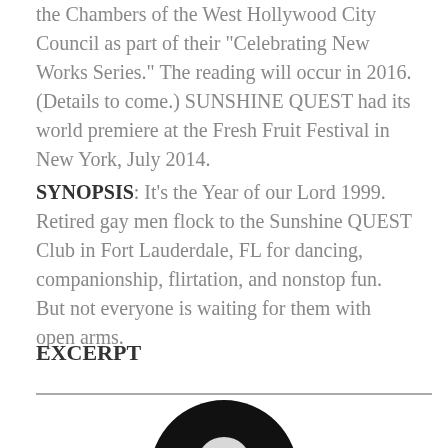the Chambers of the West Hollywood City Council as part of their "Celebrating New Works Series." The reading will occur in 2016. (Details to come.) SUNSHINE QUEST had its world premiere at the Fresh Fruit Festival in New York, July 2014.
SYNOPSIS: It's the Year of our Lord 1999. Retired gay men flock to the Sunshine QUEST Club in Fort Lauderdale, FL for dancing, companionship, flirtation, and nonstop fun. But not everyone is waiting for them with open arms.
EXCERPT
[Figure (logo): Circular black logo with a skull and crossed bats/bones, with red accents at the bottom]